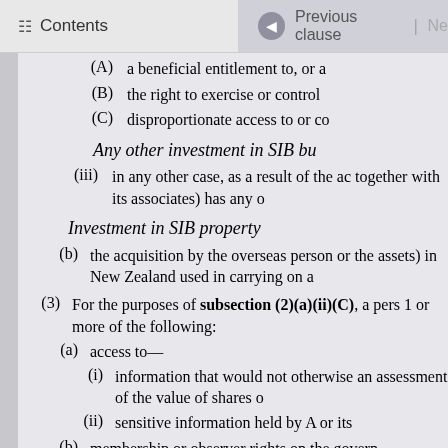Contents | Previous clause | Ne
(A) a beneficial entitlement to, or a
(B) the right to exercise or control
(C) disproportionate access to or co
Any other investment in SIB bu
(iii) in any other case, as a result of the ac together with its associates) has any o
Investment in SIB property
(b) the acquisition by the overseas person or the assets) in New Zealand used in carrying on a
(3) For the purposes of subsection (2)(a)(ii)(C), a pers 1 or more of the following:
(a) access to—
(i) information that would not otherwise an assessment of the value of shares o
(ii) sensitive information held by A or its
(b) membership or observer rights on the govern
(c) the power to prevent the acquisition of 100